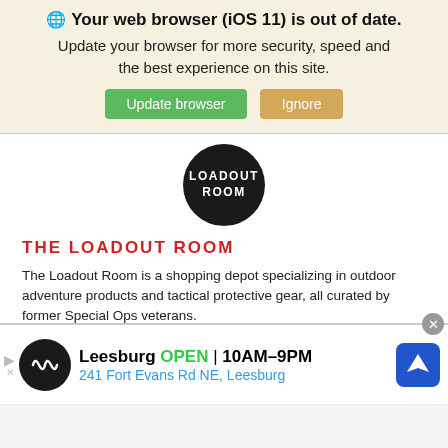🌐 Your web browser (iOS 11) is out of date. Update your browser for more security, speed and the best experience on this site.
[Figure (screenshot): Browser update banner with Update browser (green) and Ignore (tan) buttons]
[Figure (logo): LOADOUT ROOM circular black logo]
THE LOADOUT ROOM
The Loadout Room is a shopping depot specializing in outdoor adventure products and tactical protective gear, all curated by former Special Ops veterans.
Visit Website
[Figure (infographic): Social media icons: Facebook, Twitter, YouTube, Instagram (red circles)]
[Figure (infographic): Ad banner: Leesburg OPEN 10AM-9PM, 241 Fort Evans Rd NE, Leesburg with navigation icon]